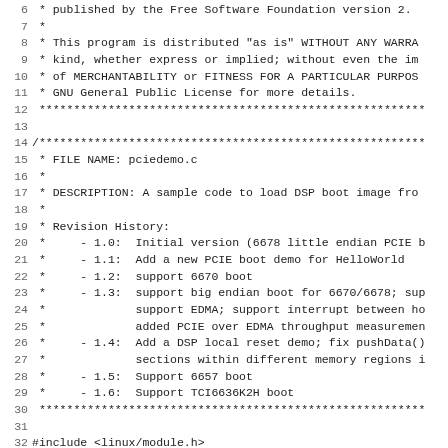Source code listing: pciedemo.c (lines 6-37). Contains license notice, file header with description and revision history, and include directives.